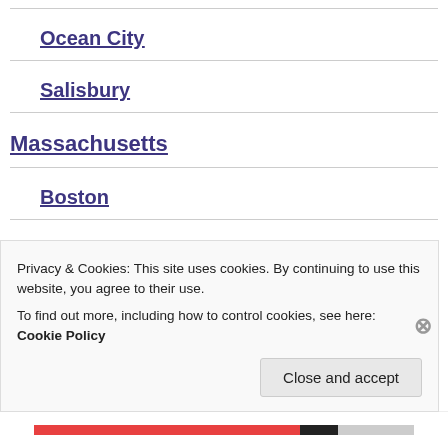Ocean City
Salisbury
Massachusetts
Boston
Michigan
Allendale
Privacy & Cookies: This site uses cookies. By continuing to use this website, you agree to their use.
To find out more, including how to control cookies, see here: Cookie Policy